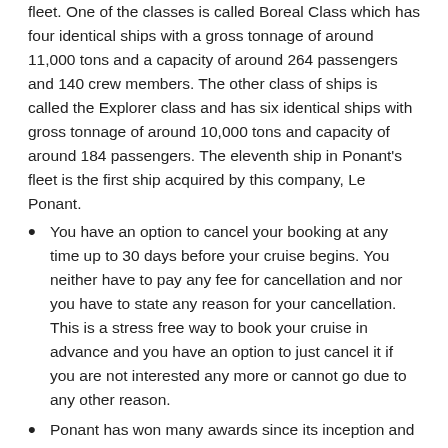fleet. One of the classes is called Boreal Class which has four identical ships with a gross tonnage of around 11,000 tons and a capacity of around 264 passengers and 140 crew members. The other class of ships is called the Explorer class and has six identical ships with gross tonnage of around 10,000 tons and capacity of around 184 passengers. The eleventh ship in Ponant's fleet is the first ship acquired by this company, Le Ponant.
You have an option to cancel your booking at any time up to 30 days before your cruise begins. You neither have to pay any fee for cancellation and nor you have to state any reason for your cancellation. This is a stress free way to book your cruise in advance and you have an option to just cancel it if you are not interested any more or cannot go due to any other reason.
Ponant has won many awards since its inception and most of these awards are for Best Boutique Cruises. This is because they are a very premium cruise option for someone who would like to travel in a luxurious cruise.
Ponant Cruises Travel Tips